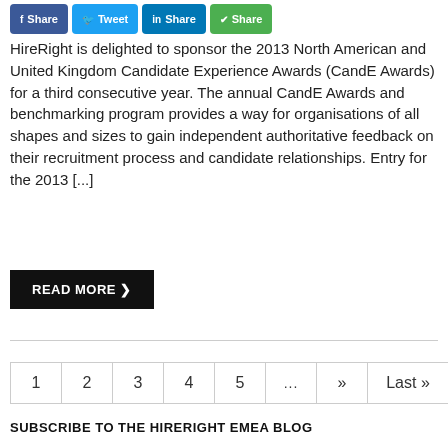[Figure (other): Social share buttons: Facebook Share, Tweet, LinkedIn Share, WhatsApp Share]
HireRight is delighted to sponsor the 2013 North American and United Kingdom Candidate Experience Awards (CandE Awards) for a third consecutive year. The annual CandE Awards and benchmarking program provides a way for organisations of all shapes and sizes to gain independent authoritative feedback on their recruitment process and candidate relationships. Entry for the 2013 [...]
READ MORE ❯
1  2  3  4  5  ...  »  Last »
SUBSCRIBE TO THE HIRERIGHT EMEA BLOG